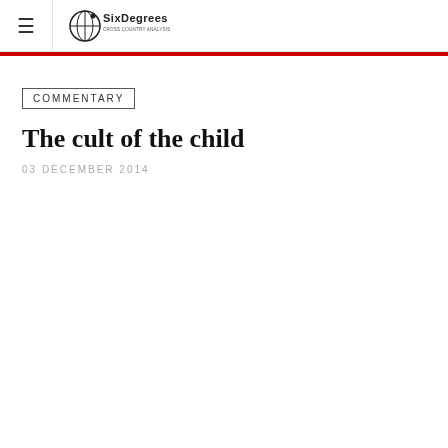≡ SixDegrees
COMMENTARY
The cult of the child
03 DECEMBER 2014